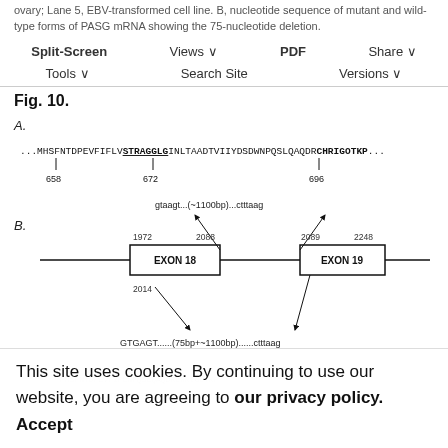ovary; Lane 5, EBV-transformed cell line. B, nucleotide sequence of mutant and wild-type forms of PASG mRNA showing the 75-nucleotide deletion.
Split-Screen | Views | PDF | Share | Tools | Search Site | Versions
Fig. 10.
[Figure (illustration): A. Protein sequence diagram showing amino acids 658-696 with STRAGGLG (672) underlined/bold and CHRIGOTKP bold. B. Exon diagram showing EXON 18 (1972-2088, with 2014 noted) and EXON 19 (2089-2248) connected by intron lines; arrows from 2088 and 2089 pointing to 'gtaagt...(~1100bp)...ctttaag'; arrows from 2014 and junction pointing down to 'GTGAGT......(75bp+~1100bp)......ctttaag'. C. faded protein sequence diagram in background.]
This site uses cookies. By continuing to use our website, you are agreeing to our privacy policy. Accept